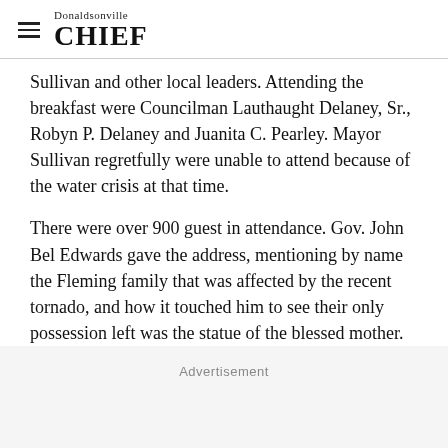Donaldsonville CHIEF
Sullivan and other local leaders. Attending the breakfast were Councilman Lauthaught Delaney, Sr., Robyn P. Delaney and Juanita C. Pearley. Mayor Sullivan regretfully were unable to attend because of the water crisis at that time.
There were over 900 guest in attendance. Gov. John Bel Edwards gave the address, mentioning by name the Fleming family that was affected by the recent tornado, and how it touched him to see their only possession left was the statue of the blessed mother.
Advertisement